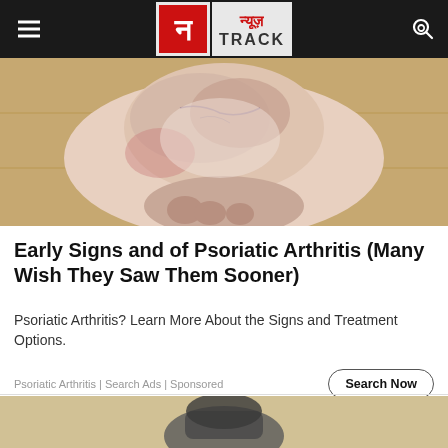न्यूज़ TRACK
[Figure (photo): Close-up photo of a foot/ankle showing skin condition (psoriatic arthritis symptoms) on a wooden floor background]
Early Signs and of Psoriatic Arthritis (Many Wish They Saw Them Sooner)
Psoriatic Arthritis? Learn More About the Signs and Treatment Options.
Psoriatic Arthritis | Search Ads | Sponsored
[Figure (photo): Partial view of second article image showing some object on sandy/stone background]